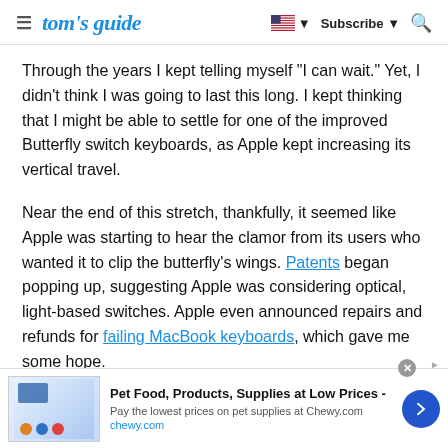tom's guide — Subscribe
Through the years I kept telling myself "I can wait." Yet, I didn't think I was going to last this long. I kept thinking that I might be able to settle for one of the improved Butterfly switch keyboards, as Apple kept increasing its vertical travel.
Near the end of this stretch, thankfully, it seemed like Apple was starting to hear the clamor from its users who wanted it to clip the butterfly's wings. Patents began popping up, suggesting Apple was considering optical, light-based switches. Apple even announced repairs and refunds for failing MacBook keyboards, which gave me some hope.
[Figure (screenshot): Advertisement banner for Chewy.com: Pet Food, Products, Supplies at Low Prices - Pay the lowest prices on pet supplies at Chewy.com]